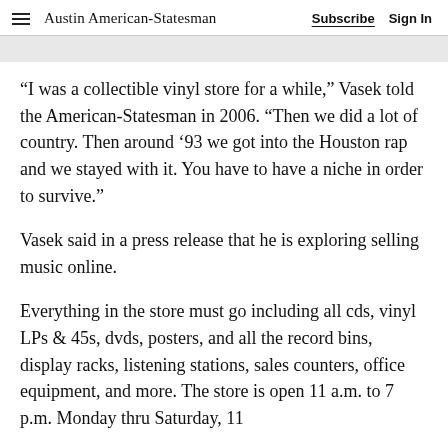Austin American-Statesman  Subscribe  Sign In
“I was a collectible vinyl store for a while,” Vasek told the American-Statesman in 2006. “Then we did a lot of country. Then around ’93 we got into the Houston rap and we stayed with it. You have to have a niche in order to survive.”
Vasek said in a press release that he is exploring selling music online.
Everything in the store must go including all cds, vinyl LPs & 45s, dvds, posters, and all the record bins, display racks, listening stations, sales counters, office equipment, and more. The store is open 11 a.m. to 7 p.m. Monday thru Saturday, 11